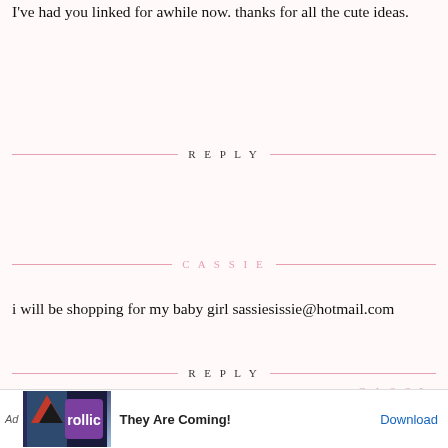I've had you linked for awhile now. thanks for all the cute ideas.
REPLY
CASSIE
i will be shopping for my baby girl sassiesissie@hotmail.com
REPLY
CASSIE
[Figure (screenshot): Advertisement banner showing 'Ad' label, a game image with triangles and 'rollic' logo, tagline 'They Are Coming!' and 'Download' button]